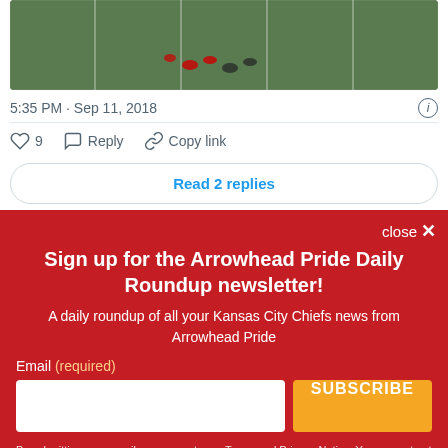[Figure (screenshot): Aerial view of football field with GIF badge overlay]
5:35 PM · Sep 11, 2018
♡ 9   Reply   Copy link
Read 2 replies
close ✕
Sign up for the Arrowhead Pride Daily Roundup newsletter!
A daily roundup of all your Kansas City Chiefs news from Arrowhead Pride
Email (required)
SUBSCRIBE
By submitting your email, you agree to our Terms and Privacy Notice. You can opt out at any time. This site is protected by reCAPTCHA and the Google Privacy Policy and Terms of Service apply.